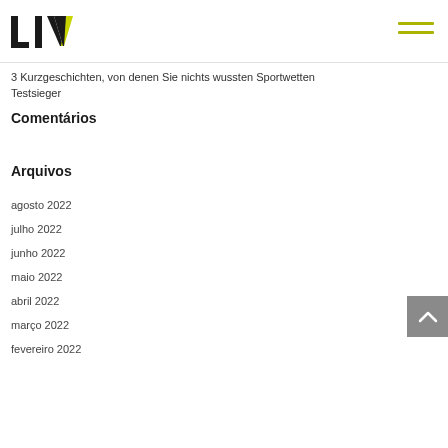LIV logo and hamburger menu
3 Kurzgeschichten, von denen Sie nichts wussten Sportwetten Testsieger
Comentários
Arquivos
agosto 2022
julho 2022
junho 2022
maio 2022
abril 2022
março 2022
fevereiro 2022